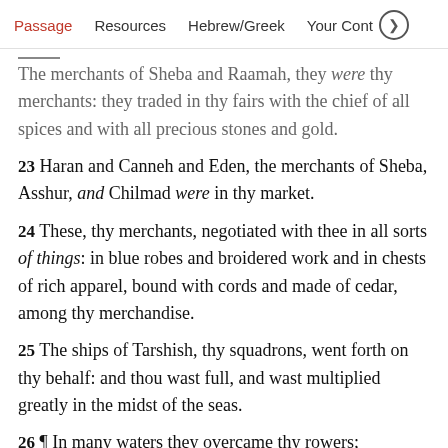Passage   Resources   Hebrew/Greek   Your Cont >
The merchants of Sheba and Raamah, they were thy merchants: they traded in thy fairs with the chief of all spices and with all precious stones and gold.
23 Haran and Canneh and Eden, the merchants of Sheba, Asshur, and Chilmad were in thy market.
24 These, thy merchants, negotiated with thee in all sorts of things: in blue robes and broidered work and in chests of rich apparel, bound with cords and made of cedar, among thy merchandise.
25 The ships of Tarshish, thy squadrons, went forth on thy behalf: and thou wast full, and wast multiplied greatly in the midst of the seas.
26 ¶ In many waters they overcame thy rowers;